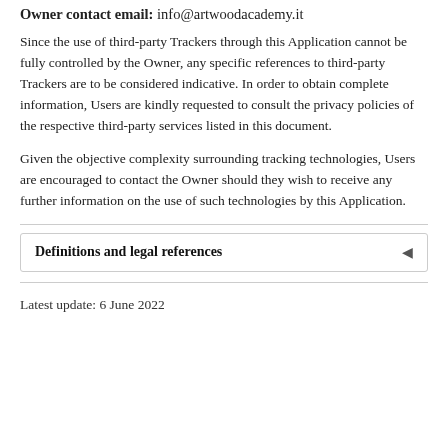Owner contact email: info@artwoodacademy.it
Since the use of third-party Trackers through this Application cannot be fully controlled by the Owner, any specific references to third-party Trackers are to be considered indicative. In order to obtain complete information, Users are kindly requested to consult the privacy policies of the respective third-party services listed in this document.
Given the objective complexity surrounding tracking technologies, Users are encouraged to contact the Owner should they wish to receive any further information on the use of such technologies by this Application.
Definitions and legal references
Latest update: 6 June 2022